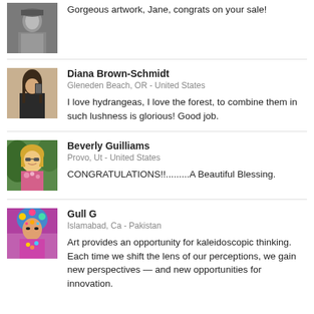[Figure (photo): Black and white photo of a person]
Gorgeous artwork, Jane, congrats on your sale!
[Figure (photo): Photo of Diana Brown-Schmidt taking a selfie in a mirror]
Diana Brown-Schmidt
Gleneden Beach, OR - United States
I love hydrangeas, I love the forest, to combine them in such lushness is glorious! Good job.
[Figure (photo): Photo of Beverly Guilliams, a woman with blonde hair and sunglasses]
Beverly Guilliams
Provo, Ut - United States
CONGRATULATIONS!!.........A Beautiful Blessing.
[Figure (photo): Photo of Gull G with colorful artistic styling]
Gull G
Islamabad, Ca - Pakistan
Art provides an opportunity for kaleidoscopic thinking. Each time we shift the lens of our perceptions, we gain new perspectives — and new opportunities for innovation.